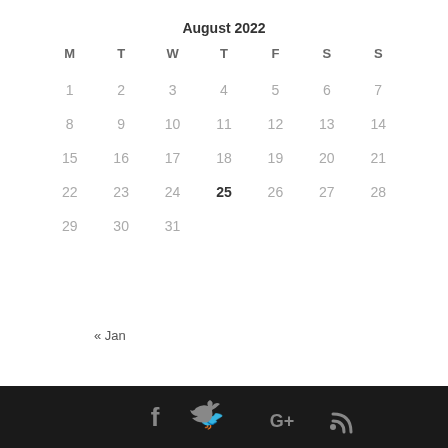August 2022
| M | T | W | T | F | S | S |
| --- | --- | --- | --- | --- | --- | --- |
| 1 | 2 | 3 | 4 | 5 | 6 | 7 |
| 8 | 9 | 10 | 11 | 12 | 13 | 14 |
| 15 | 16 | 17 | 18 | 19 | 20 | 21 |
| 22 | 23 | 24 | 25 | 26 | 27 | 28 |
| 29 | 30 | 31 |  |  |  |  |
« Jan
[Figure (infographic): Footer bar with social media icons: Facebook (f), Twitter (bird), Google Plus (G+), RSS (signal icon)]